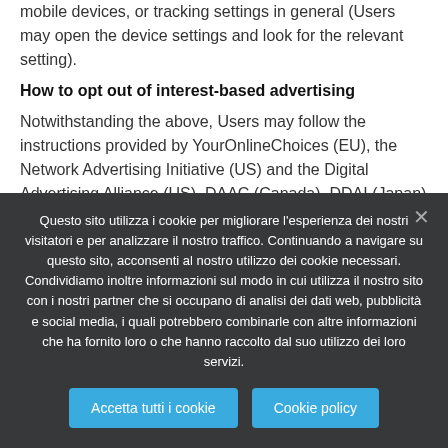mobile devices, or tracking settings in general (Users may open the device settings and look for the relevant setting).
How to opt out of interest-based advertising
Notwithstanding the above, Users may follow the instructions provided by YourOnlineChoices (EU), the Network Advertising Initiative (US) and the Digital Advertising Alliance (US), DAAC (Canada), DDAI (Japan) or other similar services. Such initiatives allow Users to select their tracking preferences for most of the
Questo sito utilizza i cookie per migliorare l'esperienza dei nostri visitatori e per analizzare il nostro traffico. Continuando a navigare su questo sito, acconsenti al nostro utilizzo dei cookie necessari. Condividiamo inoltre informazioni sul modo in cui utilizza il nostro sito con i nostri partner che si occupano di analisi dei dati web, pubblicità e social media, i quali potrebbero combinarle con altre informazioni che ha fornito loro o che hanno raccolto dal suo utilizzo dei loro servizi.
Accetta tutti i cookie | Cookie policy